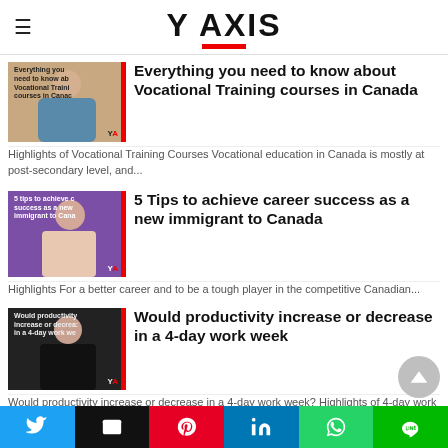Y AXIS
Everything you need to know about Vocational Training courses in Canada
Highlights of Vocational Training Courses Vocational education in Canada is mostly at post-secondary level, and...
5 Tips to achieve career success as a new immigrant to Canada
Highlights For a better career and to be a tough player in the competitive Canadian...
Would productivity increase or decrease in a 4-day work week
Would productivity increase or decrease in a 4-day work week? Highlights of 4-day work week